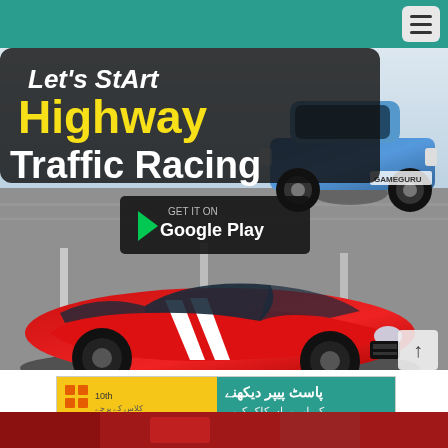[Figure (screenshot): Highway Traffic Racing mobile game promotional image showing a red Mustang with white stripes in the foreground and a blue car in the background, with text 'Let's Start Highway Traffic Racing' and a Google Play badge.]
[Figure (screenshot): Advertisement banner for 10th class past papers in Urdu, with Google Play button.]
[Figure (photo): Bottom strip showing partial image in red tones.]